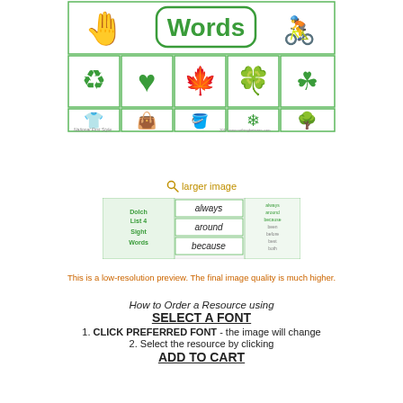[Figure (illustration): Green icon grid with 'Words' title banner on top and two rows of green nature/object icons (recycle, heart, leaf, clover, shamrock, t-shirt, bag, watering can, snowflake, tree) in cells]
🔍 larger image
[Figure (screenshot): Preview thumbnail of Dolch List 4 Sight Words worksheet with words 'always', 'around', 'because' visible]
This is a low-resolution preview. The final image quality is much higher.
How to Order a Resource using SELECT A FONT 1. CLICK PREFERRED FONT - the image will change 2. Select the resource by clicking ADD TO CART